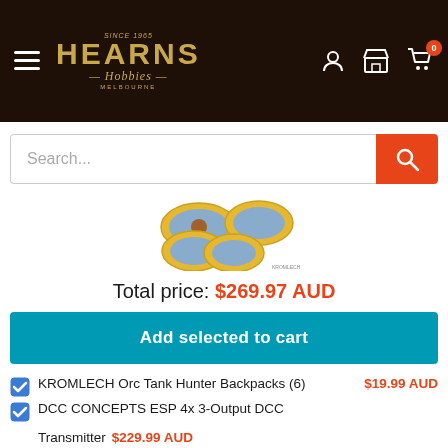Hearns Hobbies - Navigation header with logo, user icon, store icon, and cart (0 items)
Search...
[Figure (photo): Product image showing oval bases with stone texture and yellow/orange trim (KROMLECH miniature bases)]
Total price: $269.97 AUD
Add selected to cart
KROMLECH Orc Tank Hunter Backpacks (6)  $19.99 AUD
DCC CONCEPTS ESP 4x 3-Output DCC Transmitter  $229.99 AUD
KROMLECH Town Streets 90x52mm Oval Base